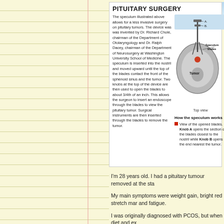PITUITARY SURGERY
The speculum illustrated above allows for a less invasive surgery on pituitary tumors. The device was was invented by Dr. Richard Chole, chairman of the Department of Otolaryngology and Dr. Ralph Dacey, chairman of the Department of Neurosurgery at Washington University School of Medicine. The speculum is inserted into the nostril and moved upward until the top of the blades contact the front of the sphenoid sinus and the tumor. Two knobs at the top of the device are then used to open the blades to about 3/4th of an inch. This allows the surgeon to insert an endoscope through the blades to view the pituitary tumor. Surgical instruments are then inserted through the blades to remove the tumor.
[Figure (engineering-diagram): Top view MRI cross-section diagram of a head showing speculum blades inserted through nostril reaching the tumor. Labels: A. (top knob), B. (second knob), Speculum blades (right side), Tumor (center). Caption: Top view.]
How the speculum works
View of the opened blades. Knob A opens the section of the blades closest to the nostril while Knob B opens the end nearest the tumor.
I'm 28 years old. I had a pituitary tumour removed at the sta
My main symptoms were weight gain, bright red stretch mar and fatigue.
I was originally diagnosed with PCOS, but when diet and ex